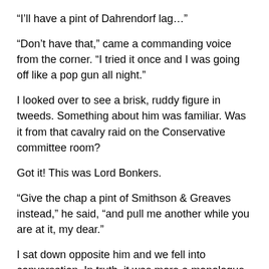“I’ll have a pint of Dahrendorf lag…”
“Don’t have that,” came a commanding voice from the corner. “I tried it once and I was going off like a pop gun all night.”
I looked over to see a brisk, ruddy figure in tweeds. Something about him was familiar. Was it from that cavalry raid on the Conservative committee room?
Got it! This was Lord Bonkers.
“Give the chap a pint of Smithson & Greaves instead,” he said, “and pull me another while you are at it, my dear.”
I sat down opposite him and we fell into conversation. In truth, it was more a monologue than a conversation and over the next two hours, punctuated by regular trips to the bar, I heard his views on Free Trade, Paddy Ashplant (“Sound, apart from Chinese Labour’), the decline of leg spin, the lily-livered attitude of the modern editor to threatened libel